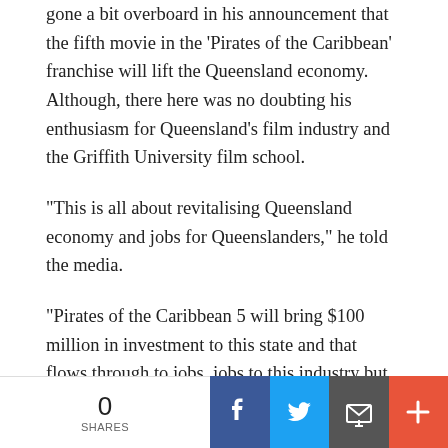gone a bit overboard in his announcement that the fifth movie in the 'Pirates of the Caribbean' franchise will lift the Queensland economy. Although, there here was no doubting his enthusiasm for Queensland's film industry and the Griffith University film school.
“This is all about revitalising Queensland economy and jobs for Queenslanders,” he told the media.
“Pirates of the Caribbean 5 will bring $100 million in investment to this state and that flows through to jobs, jobs to this industry but jobs also to the rest of Queensland in rural and regional Queensland because this film will be filming not only on the Gold Coast where it will be filmed at the studios there but also in North Queensland. There will be filming at Port Douglas and at other venues north of Mackay and that means
0 SHARES | Facebook | Twitter | Email | More